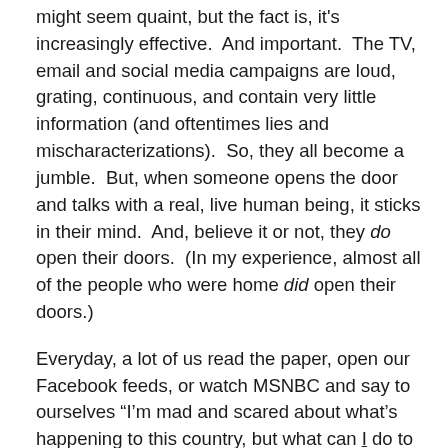might seem quaint, but the fact is, it's increasingly effective.  And important.  The TV, email and social media campaigns are loud, grating, continuous, and contain very little information (and oftentimes lies and mischaracterizations).  So, they all become a jumble.  But, when someone opens the door and talks with a real, live human being, it sticks in their mind.  And, believe it or not, they do open their doors.  (In my experience, almost all of the people who were home did open their doors.)
Everyday, a lot of us read the paper, open our Facebook feeds, or watch MSNBC and say to ourselves “I’m mad and scared about what’s happening to this country, but what can I do to change what is going on?”
Of course, campaigns do live off of money, and candidates have to spend an inordinate amount of time literally